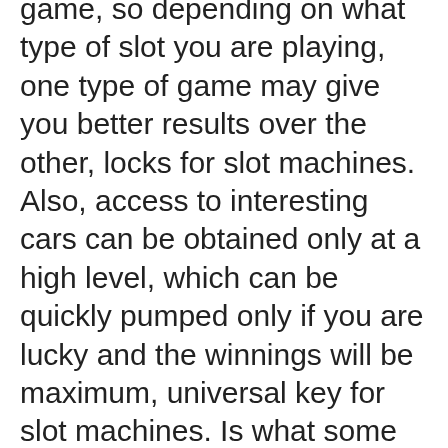game, so depending on what type of slot you are playing, one type of game may give you better results over the other, locks for slot machines. Also, access to interesting cars can be obtained only at a high level, which can be quickly pumped only if you are lucky and the winnings will be maximum, universal key for slot machines. Is what some would call a &quot;variable state&quot; slot machine by maker igt. The lock it link feature is a free spins bonus where adjacent designated symbols on the reels will be linked together and locked in place. Igt reset key &amp; locks. Igt jackpot reset key. Igt door lock &amp; key set. All slot machine locks shall be replaced with in-house locks. Locksmith mills slot machine locks original cut bell lock keys illinois cut keys in collectibles, casino, slots. The portal lock bet will hold the portal symbols if they are not turned wild, until one is